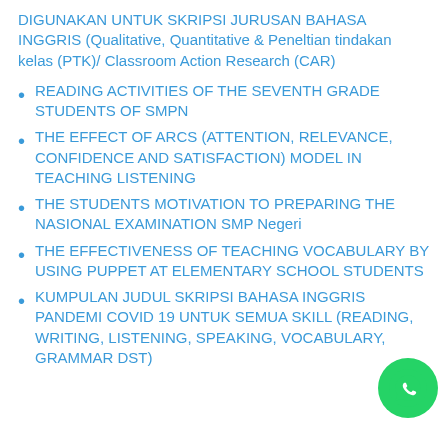DIGUNAKAN UNTUK SKRIPSI JURUSAN BAHASA INGGRIS (Qualitative, Quantitative & Peneltian tindakan kelas (PTK)/ Classroom Action Research (CAR)
READING ACTIVITIES OF THE SEVENTH GRADE STUDENTS OF SMPN
THE EFFECT OF ARCS (ATTENTION, RELEVANCE, CONFIDENCE AND SATISFACTION) MODEL IN TEACHING LISTENING
THE STUDENTS MOTIVATION TO PREPARING THE NASIONAL EXAMINATION SMP Negeri
THE EFFECTIVENESS OF TEACHING VOCABULARY BY USING PUPPET AT ELEMENTARY SCHOOL STUDENTS
KUMPULAN JUDUL SKRIPSI BAHASA INGGRIS PANDEMI COVID 19 UNTUK SEMUA SKILL (READING, WRITING, LISTENING, SPEAKING, VOCABULARY, GRAMMAR DST)